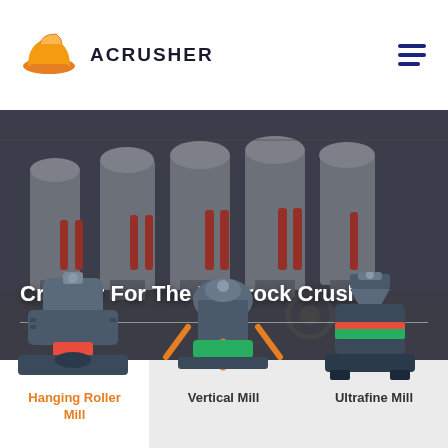[Figure (logo): Acrusher logo with orange hard hat icon and bold uppercase ACRUSHER text]
[Figure (photo): Industrial photograph of large grey crusher/mill machines lined up in a factory floor, with red hydraulic components visible]
Crusher For The Pulprock Crusher
[Figure (photo): Hanging Roller Mill machine product image]
[Figure (photo): Vertical Mill machine product image]
[Figure (photo): Ultrafine Mill machine product image]
Hanging Roller Mill
Vertical Mill
Ultrafine Mill